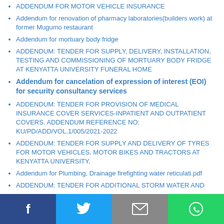ADDENDUM FOR MOTOR VEHICLE INSURANCE
Addendum for renovation of pharmacy laboratories(builders work) at former Mugumo restaurant
Addendum for mortuary body fridge
ADDENDUM: TENDER FOR SUPPLY, DELIVERY, INSTALLATION, TESTING AND COMMISSIONING OF MORTUARY BODY FRIDGE AT KENYATTA UNIVERSITY FUNERAL HOME
Addendum for cancelation of expression of interest (EOI) for security consultancy services
ADDENDUM: TENDER FOR PROVISION OF MEDICAL INSURANCE COVER SERVICES-INPATIENT AND OUTPATIENT COVERS. ADDENDUM REFERENCE NO: KU/PD/ADD/VOL.1/005/2021-2022
ADDENDUM: TENDER FOR SUPPLY AND DELIVERY OF TYRES FOR MOTOR VEHICLES, MOTOR BIKES AND TRACTORS AT KENYATTA UNIVERSITY.
Addendum for Plumbing, Drainage firefighting water reticulati.pdf
ADDENDUM: TENDER FOR ADDITIONAL STORM WATER AND